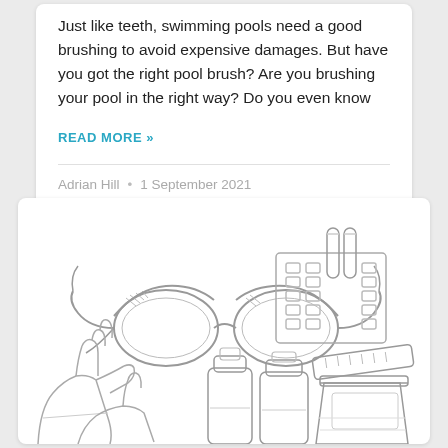Just like teeth, swimming pools need a good brushing to avoid expensive damages. But have you got the right pool brush? Are you brushing your pool in the right way? Do you even know
READ MORE »
Adrian Hill  •  1 September 2021
[Figure (illustration): Line drawing illustration of pool chemical safety equipment including safety goggles, rubber gloves, test kit with vials, chemical bottles, and a storage bucket, all rendered in gray outline style.]